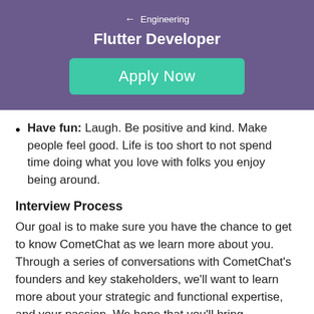← Engineering
Flutter Developer
Apply Now
Have fun: Laugh. Be positive and kind. Make people feel good. Life is too short to not spend time doing what you love with folks you enjoy being around.
Interview Process
Our goal is to make sure you have the chance to get to know CometChat as we learn more about you. Through a series of conversations with CometChat's founders and key stakeholders, we'll want to learn more about your strategic and functional expertise, and your passion. We hope that you'll bring questions and ideas to each conversation and suggest ways that we can get to know you and your capabilities better.